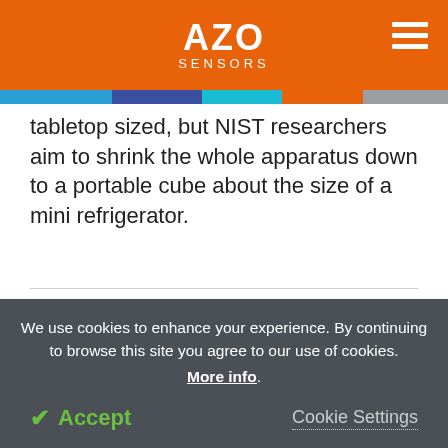AZO SENSORS
tabletop sized, but NIST researchers aim to shrink the whole apparatus down to a portable cube about the size of a mini refrigerator.
Related Stories
Precise Biometrics/JP Sensor Partner for Licensing Precise BioMatch™ Embedded and
We use cookies to enhance your experience. By continuing to browse this site you agree to our use of cookies. More info.
✓ Accept   Cookie Settings